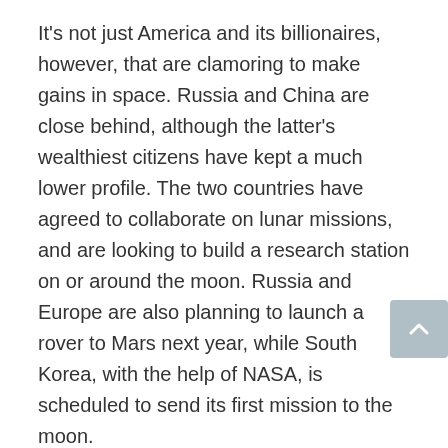It's not just America and its billionaires, however, that are clamoring to make gains in space. Russia and China are close behind, although the latter's wealthiest citizens have kept a much lower profile. The two countries have agreed to collaborate on lunar missions, and are looking to build a research station on or around the moon. Russia and Europe are also planning to launch a rover to Mars next year, while South Korea, with the help of NASA, is scheduled to send its first mission to the moon.
A new era of space technology and exploration is upon the world, one that could rival the 1960s in historical significance and magnitude. It's unclear, however, if these advancements will be met with the cultural fervor that made the last Space Age feel so distinct. This time, the public interest in space is driven less by spectacle and more by the agendas of highly influential billionaires.
Despite all the recent hullabaloo, regular people don't